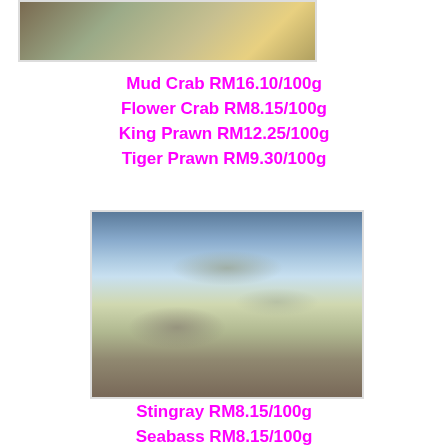[Figure (photo): Photo of seafood (crab/shellfish) partially visible at top of page]
Mud Crab RM16.10/100g
Flower Crab RM8.15/100g
King Prawn RM12.25/100g
Tiger Prawn RM9.30/100g
[Figure (photo): Photo of fresh fish and seafood displayed on ice in an orange tray]
Stingray RM8.15/100g
Seabass RM8.15/100g
Mabong - Indian Mackarel RM4.65/100g